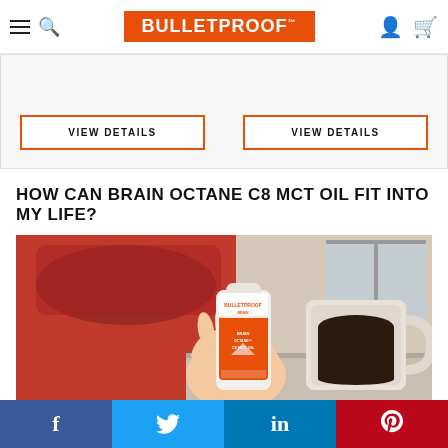BULLETPROOF (navigation header with hamburger menu, search, logo, user icon, cart icon)
[Figure (other): Product strip with two VIEW DETAILS buttons on orange-outlined rectangles on a light gray background]
HOW CAN BRAIN OCTANE C8 MCT OIL FIT INTO MY LIFE?
[Figure (photo): Photograph of a hand holding a Bulletproof Brain Octane C8 MCT Oil bottle in front of a red bag and a white mug of black coffee]
Social share bar: Facebook, Twitter, LinkedIn, Pinterest